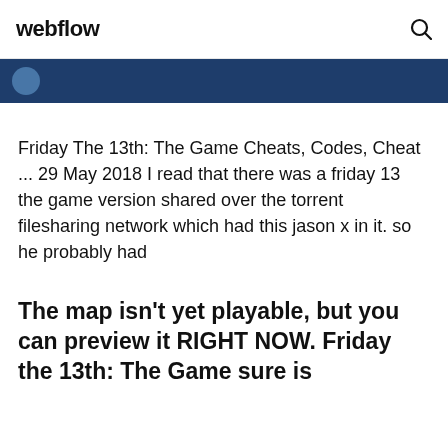webflow
[Figure (other): Dark blue navigation band with a circular icon on the left]
Friday The 13th: The Game Cheats, Codes, Cheat ... 29 May 2018 I read that there was a friday 13 the game version shared over the torrent filesharing network which had this jason x in it. so he probably had
The map isn't yet playable, but you can preview it RIGHT NOW. Friday the 13th: The Game sure is